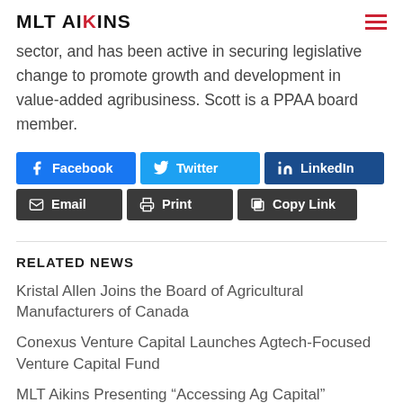MLT AIKINS
sector, and has been active in securing legislative change to promote growth and development in value-added agribusiness. Scott is a PPAA board member.
[Figure (infographic): Social sharing buttons: Facebook, Twitter, LinkedIn, Email, Print, Copy Link]
RELATED NEWS
Kristal Allen Joins the Board of Agricultural Manufacturers of Canada
Conexus Venture Capital Launches Agtech-Focused Venture Capital Fund
MLT Aikins Presenting “Accessing Ag Capital”